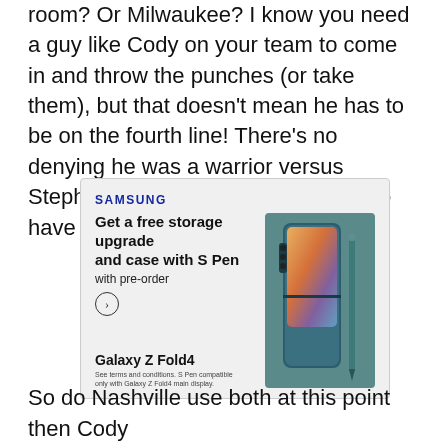room? Or Milwaukee? I know you need a guy like Cody on your team to come in and throw the punches (or take them), but that doesn't mean he has to be on the fourth line! There's no denying he was a warrior versus Stephen Johns for us, but we have to have some boundaries!
[Figure (illustration): Samsung Galaxy Z Fold4 advertisement. Dark teal/blue-grey background section on right showing the Galaxy Z Fold4 phone and S Pen. Text on left: SAMSUNG (bold blue), 'Get a free storage upgrade and case with S Pen', 'with pre-order', arrow button, 'Galaxy Z Fold4', fine print 'See terms and conditions. S Pen compatible only with Galaxy Z Fold4 main display.']
So do Nashville use both at this point then Cody